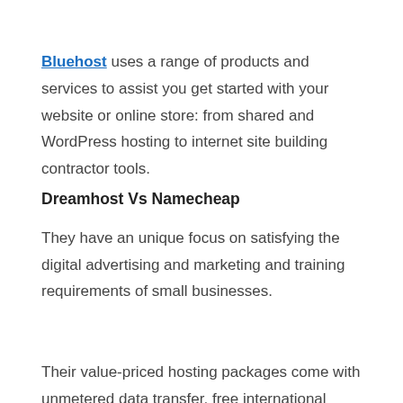Bluehost uses a range of products and services to assist you get started with your website or online store: from shared and WordPress hosting to internet site building contractor tools.
Dreamhost Vs Namecheap
They have an unique focus on satisfying the digital advertising and marketing and training requirements of small businesses.
Their value-priced hosting packages come with unmetered data transfer, free international CDN and SSL certificates, and complimentary daily, regular and month-to-month back-ups on an effective and tried and tested platform that is developed to range